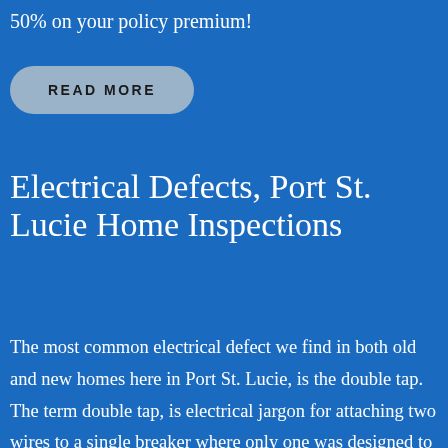50% on your policy premium!
READ MORE
Electrical Defects, Port St. Lucie Home Inspections
The most common electrical defect we find in both old and new homes here in Port St. Lucie, is the double tap. The term double tap, is electrical jargon for attaching two wires to a single breaker where only one was designed to be